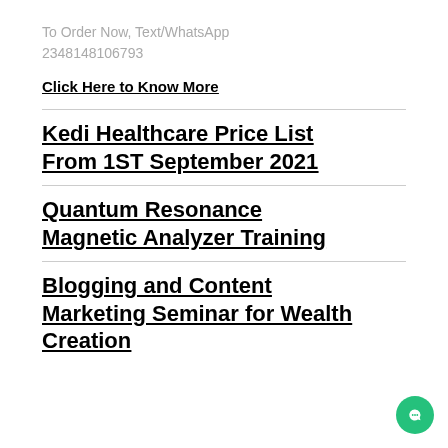To Order Now, Text/WhatsApp
2348148106793
Click Here to Know More
Kedi Healthcare Price List From 1ST September 2021
Quantum Resonance Magnetic Analyzer Training
Blogging and Content Marketing Seminar for Wealth Creation